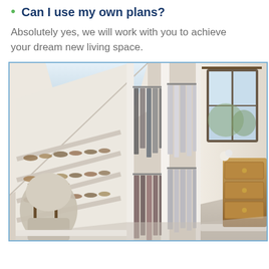Can I use my own plans?
Absolutely yes, we will work with you to achieve your dream new living space.
[Figure (photo): Interior photo of a loft walk-in wardrobe with angled ceiling, white shelving units filled with shoes, hanging clothes rails with garments, a decorative chair in the foreground left, a window and chest of drawers visible through a doorway on the right.]